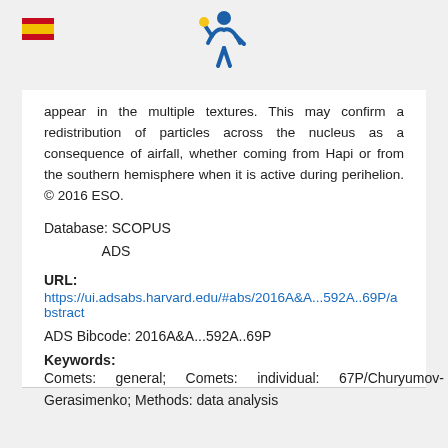[Figure (logo): Spanish flag icon (red and yellow) in top left corner]
[Figure (logo): HR/organization logo in blue and yellow in top center]
appear in the multiple textures. This may confirm a redistribution of particles across the nucleus as a consequence of airfall, whether coming from Hapi or from the southern hemisphere when it is active during perihelion. © 2016 ESO.
Database: SCOPUS
                ADS
URL:
https://ui.adsabs.harvard.edu/#abs/2016A&A...592A..69P/abstract
ADS Bibcode: 2016A&A...592A..69P
Keywords:
Comets: general; Comets: individual: 67P/Churyumov-Gerasimenko; Methods: data analysis